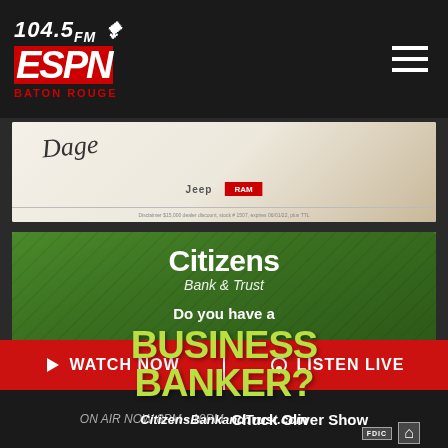104.5FM ESPN Baton Rouge
[Figure (advertisement): Dodge/Jeep/RAM vehicle advertisement banner with signature and brand logos]
[Figure (advertisement): Citizens Bank & Trust advertisement on green background: 'Do you have a BUSINESS BANKER? CitizensBankandTrust.com']
WATCH NOW | LISTEN LIVE | ON AIR NOW 8PM - 10PM Chuck Oliver Show